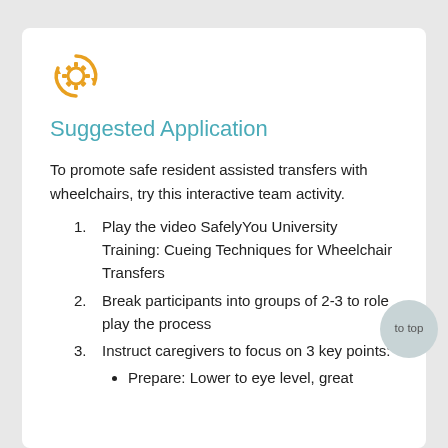[Figure (illustration): Orange gear/settings icon with circular arrows]
Suggested Application
To promote safe resident assisted transfers with wheelchairs, try this interactive team activity.
1. Play the video SafelyYou University Training: Cueing Techniques for Wheelchair Transfers
2. Break participants into groups of 2-3 to role play the process
3. Instruct caregivers to focus on 3 key points:
Prepare: Lower to eye level, great